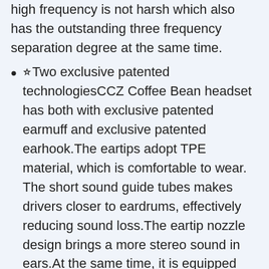high frequency is not harsh which also has the outstanding three frequency separation degree at the same time.
⭐︎Two exclusive patented technologies︎CCZ Coffee Bean headset has both with exclusive patented earmuff and exclusive patented earhook.The eartips adopt TPE material, which is comfortable to wear. The short sound guide tubes makes drivers closer to eardrums, effectively reducing sound loss.The eartip nozzle design brings a more stereo sound in ears.At the same time, it is equipped with a patented ear hook design, making it more comfortable, lighter and more stable to wear.
⭐︎UV-curing PC Cavity︎The cavity adopts solid and anti-impact high density PC materials, covered with German nice-fit UV